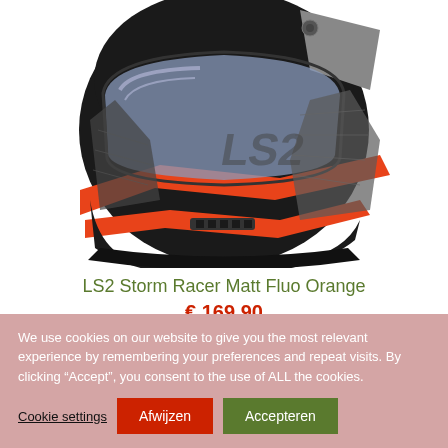[Figure (photo): LS2 motorcycle helmet in black with orange and grey accents, matte finish, full-face style with tinted visor, shown from a front-side angle]
LS2 Storm Racer Matt Fluo Orange
€ 169,90
We use cookies on our website to give you the most relevant experience by remembering your preferences and repeat visits. By clicking “Accept”, you consent to the use of ALL the cookies.
Cookie settings  Afwijzen  Accepteren